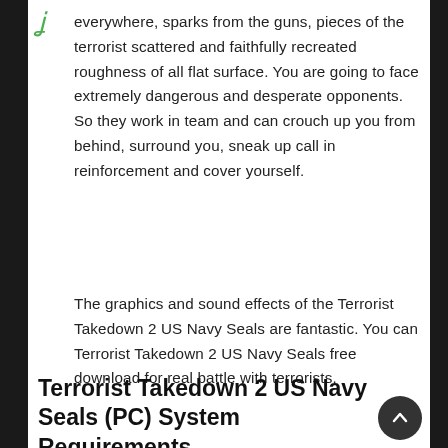everywhere, sparks from the guns, pieces of the terrorist scattered and faithfully recreated roughness of all flat surface. You are going to face extremely dangerous and desperate opponents. So they work in team and can crouch up you from behind, surround you, sneak up call in reinforcement and cover yourself.
The graphics and sound effects of the Terrorist Takedown 2 US Navy Seals are fantastic. You can Terrorist Takedown 2 US Navy Seals free download for real battle with terrorists.
Terrorist Takedown 2 US Navy Seals (PC) System Requirements